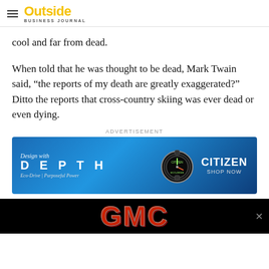Outside Business Journal
cool and far from dead.
When told that he was thought to be dead, Mark Twain said, “the reports of my death are greatly exaggerated?” Ditto the reports that cross-country skiing was ever dead or even dying.
ADVERTISEMENT
[Figure (photo): Citizen watch advertisement showing a diver watch with text 'Design with DEPTH, Eco-Drive | Purposeful Power' on blue background with 'CITIZEN SHOP NOW' on the right]
[Figure (logo): GMC logo advertisement on black background with red metallic GMC lettering and a close button]